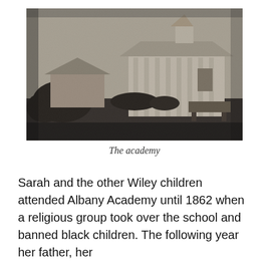[Figure (photo): Black and white historical photograph of Albany Academy building with a smaller structure to the left, trees in the foreground, and a bell tower or cupola on the main building.]
The academy
Sarah and the other Wiley children attended Albany Academy until 1862 when a religious group took over the school and banned black children. The following year her father, her